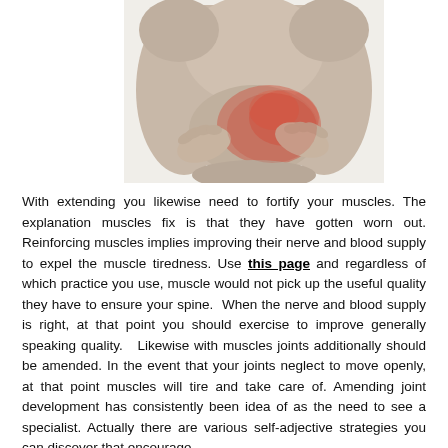[Figure (photo): A person holding their lower back area with both hands, with a reddish highlight indicating pain in the lower back/hip region. The image is in greyscale with red coloring on the pain area.]
With extending you likewise need to fortify your muscles. The explanation muscles fix is that they have gotten worn out. Reinforcing muscles implies improving their nerve and blood supply to expel the muscle tiredness. Use this page and regardless of which practice you use, muscle would not pick up the useful quality they have to ensure your spine. When the nerve and blood supply is right, at that point you should exercise to improve generally speaking quality. Likewise with muscles joints additionally should be amended. In the event that your joints neglect to move openly, at that point muscles will tire and take care of. Amending joint development has consistently been idea of as the need to see a specialist. Actually there are various self-adjective strategies you can discover that encourage